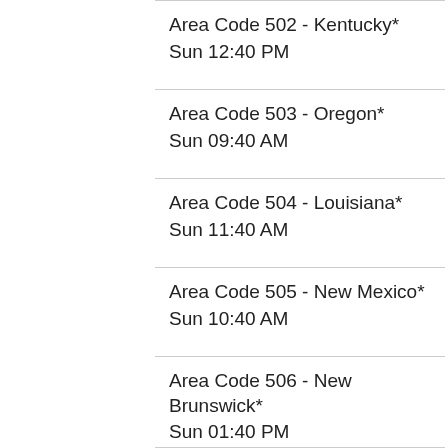Area Code 502 - Kentucky*
Sun 12:40 PM
Area Code 503 - Oregon*
Sun 09:40 AM
Area Code 504 - Louisiana*
Sun 11:40 AM
Area Code 505 - New Mexico*
Sun 10:40 AM
Area Code 506 - New Brunswick*
Sun 01:40 PM